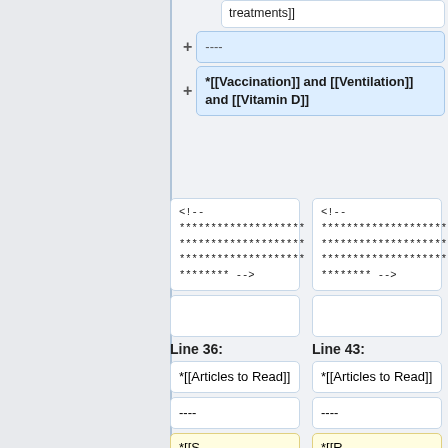treatments]]
----
*[[Vaccination]] and [[Ventilation]] and [[Vitamin D]]
<!-- ******************** ******************** ******************** ******** -->
<!-- ******************** ******************** ******************** ******** -->
Line 36:
Line 43:
*[[Articles to Read]]
*[[Articles to Read]]
----
----
*[[S...
*[[R...